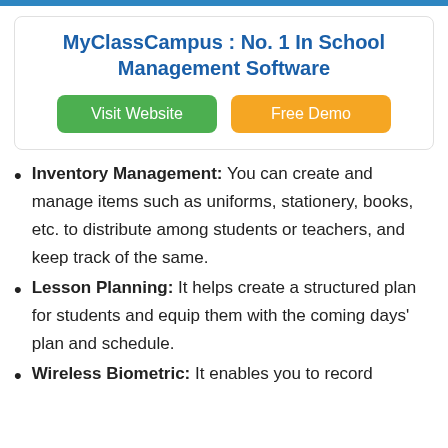MyClassCampus : No. 1 In School Management Software
Inventory Management: You can create and manage items such as uniforms, stationery, books, etc. to distribute among students or teachers, and keep track of the same.
Lesson Planning: It helps create a structured plan for students and equip them with the coming days' plan and schedule.
Wireless Biometric: It enables you to record attendance and configure fingerprints for recognition.